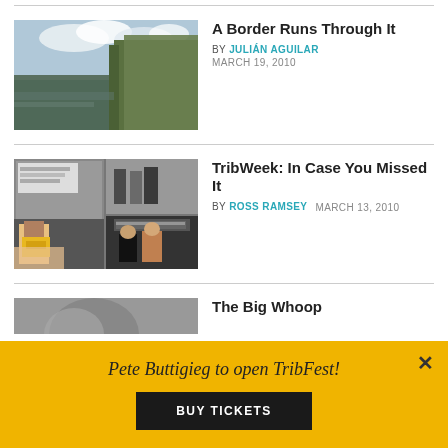[Figure (photo): Partial top image strip]
[Figure (photo): River with tall reeds/grass beside it under cloudy sky]
A Border Runs Through It
BY JULIÁN AGUILAR  MARCH 19, 2010
[Figure (photo): Collage of multiple news photos including Texas Tribune event images]
TribWeek: In Case You Missed It
BY ROSS RAMSEY  MARCH 13, 2010
[Figure (photo): Partial image at bottom, person visible]
The Big Whoop
Pete Buttigieg to open TribFest!
BUY TICKETS